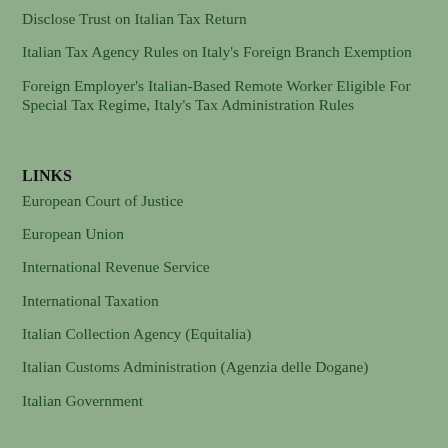Disclose Trust on Italian Tax Return
Italian Tax Agency Rules on Italy's Foreign Branch Exemption
Foreign Employer's Italian-Based Remote Worker Eligible For Special Tax Regime, Italy's Tax Administration Rules
LINKS
European Court of Justice
European Union
International Revenue Service
International Taxation
Italian Collection Agency (Equitalia)
Italian Customs Administration (Agenzia delle Dogane)
Italian Government